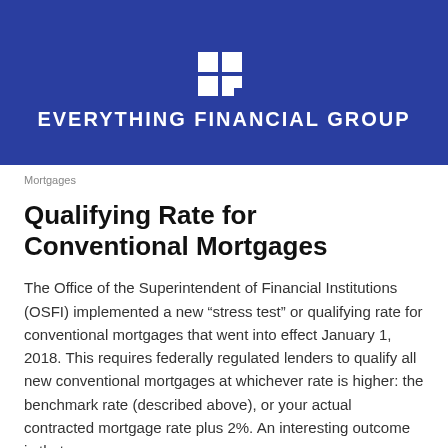[Figure (logo): Everything Financial Group logo with white grid icon and company name in white uppercase letters on dark blue background]
Mortgages
Qualifying Rate for Conventional Mortgages
The Office of the Superintendent of Financial Institutions (OSFI) implemented a new “stress test” or qualifying rate for conventional mortgages that went into effect January 1, 2018. This requires federally regulated lenders to qualify all new conventional mortgages at whichever rate is higher: the benchmark rate (described above), or your actual contracted mortgage rate plus 2%. An interesting outcome is that